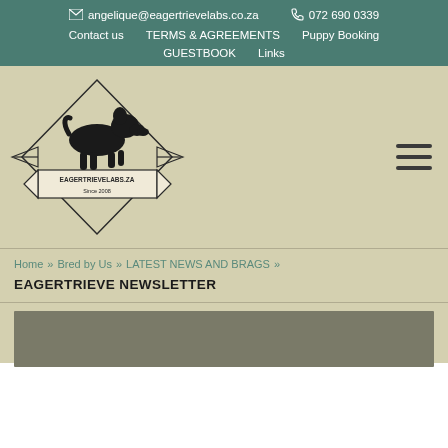✉ angelique@eagertrievelabs.co.za   📞 072 690 0339
Contact us   TERMS & AGREEMENTS   Puppy Booking
GUESTBOOK   Links
[Figure (logo): Eagertrievelabs.co.za logo featuring a black Labrador dog silhouette above a banner reading 'EAGERTRIEVELABS.ZA Since 2008', enclosed in a diamond/star shape with decorative arrows]
Home » Bred by Us » LATEST NEWS AND BRAGS »
EAGERTRIEVE NEWSLETTER
[Figure (photo): Partial view of a photo at the bottom of the page, grey-green background color visible]